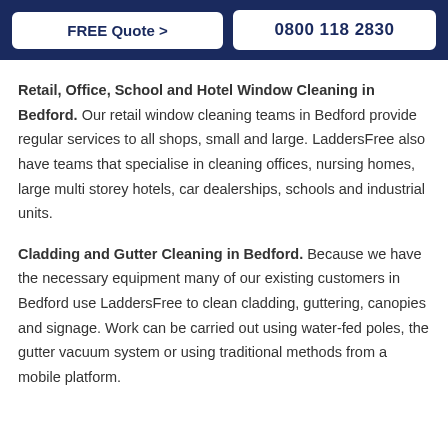FREE Quote >   0800 118 2830
Retail, Office, School and Hotel Window Cleaning in Bedford. Our retail window cleaning teams in Bedford provide regular services to all shops, small and large. LaddersFree also have teams that specialise in cleaning offices, nursing homes, large multi storey hotels, car dealerships, schools and industrial units.
Cladding and Gutter Cleaning in Bedford. Because we have the necessary equipment many of our existing customers in Bedford use LaddersFree to clean cladding, guttering, canopies and signage. Work can be carried out using water-fed poles, the gutter vacuum system or using traditional methods from a mobile platform.